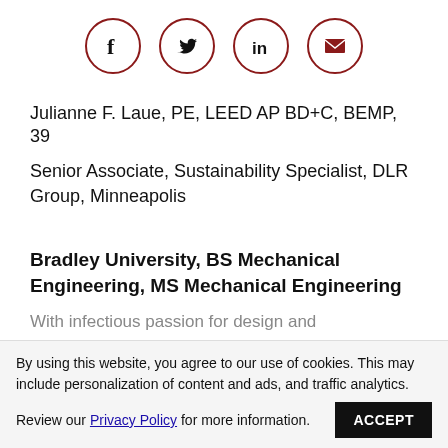[Figure (illustration): Four social media icons in circles: Facebook (f), Twitter (bird), LinkedIn (in), Email (envelope). Circles outlined in dark red/maroon.]
Julianne F. Laue, PE, LEED AP BD+C, BEMP, 39
Senior Associate, Sustainability Specialist, DLR Group, Minneapolis
Bradley University, BS Mechanical Engineering, MS Mechanical Engineering
With infectious passion for design and sustainability, Laue is a leader and a mentor
By using this website, you agree to our use of cookies. This may include personalization of content and ads, and traffic analytics. Review our Privacy Policy for more information.